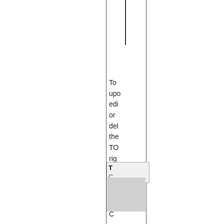[Figure (screenshot): Partial view of a document page with vertical border lines and a cursor/caret at the top]
To update, edit, or delete the TO right click on it.
[Figure (screenshot): UI element box with bold 'T' header and 'C' subtext, with gray area below]
C